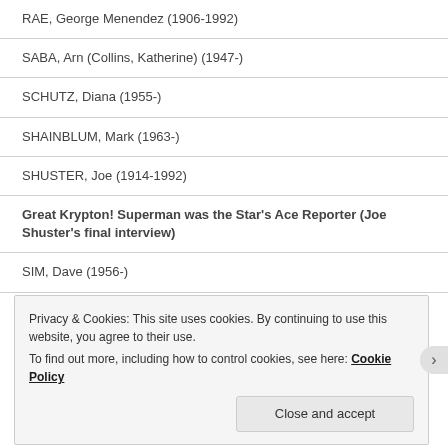RAE, George Menendez (1906-1992)
SABA, Arn (Collins, Katherine) (1947-)
SCHUTZ, Diana (1955-)
SHAINBLUM, Mark (1963-)
SHUSTER, Joe (1914-1992)
Great Krypton! Superman was the Star's Ace Reporter (Joe Shuster's final interview)
SIM, Dave (1956-)
Privacy & Cookies: This site uses cookies. By continuing to use this website, you agree to their use. To find out more, including how to control cookies, see here: Cookie Policy
Close and accept